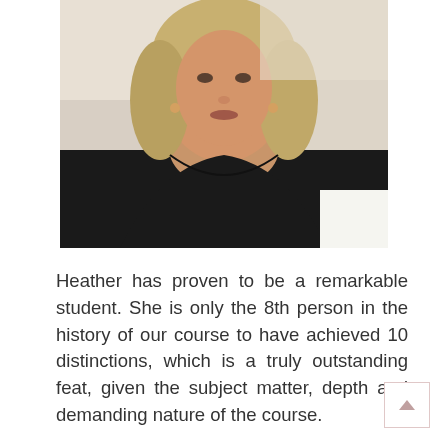[Figure (photo): Portrait photo of a middle-aged woman with blonde shoulder-length hair wearing a black top, photographed from chest up, bright background]
Heather has proven to be a remarkable student. She is only the 8th person in the history of our course to have achieved 10 distinctions, which is a truly outstanding feat, given the subject matter, depth and demanding nature of the course.